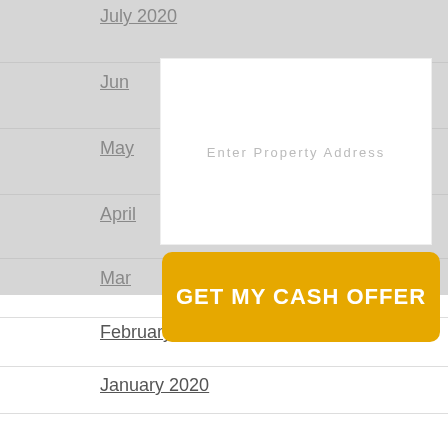July 2020
June
May
April
Mar
February 2020
January 2020
December 2019
November 2019
October 2019
September 2019
[Figure (screenshot): Modal overlay with text input field showing placeholder 'Enter Property Address' and a yellow button labeled 'GET MY CASH OFFER']